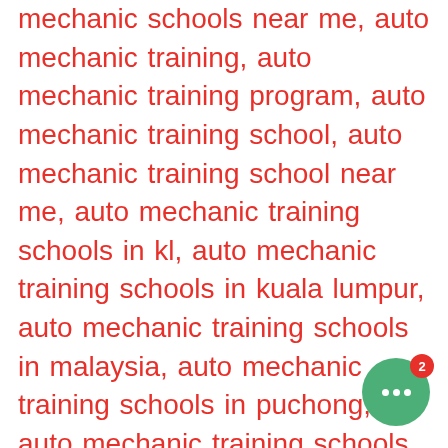mechanic schools near me, auto mechanic training, auto mechanic training program, auto mechanic training school, auto mechanic training school near me, auto mechanic training schools in kl, auto mechanic training schools in kuala lumpur, auto mechanic training schools in malaysia, auto mechanic training schools in puchong, auto mechanic training schools in selangor, automobile Course, Automotive Academy launched in Malaysia, automotive academy malaysia, automotive business college, automotive business college Malaysia, automotive college, automotive college book, automotive college classes,
[Figure (other): Green circular chat button with three white dots and a red notification badge showing the number 2]